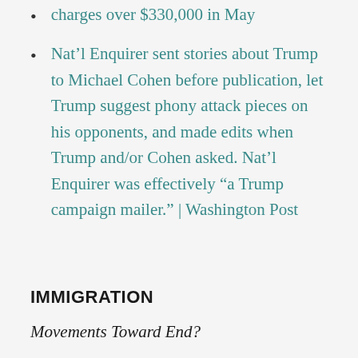charges over $330,000 in May
Nat’l Enquirer sent stories about Trump to Michael Cohen before publication, let Trump suggest phony attack pieces on his opponents, and made edits when Trump and/or Cohen asked. Nat’l Enquirer was effectively “a Trump campaign mailer.” | Washington Post
IMMIGRATION
Movements Toward End?
Trump administration will stop prosecuting migrant parents who cross the border illegally with children, officials...